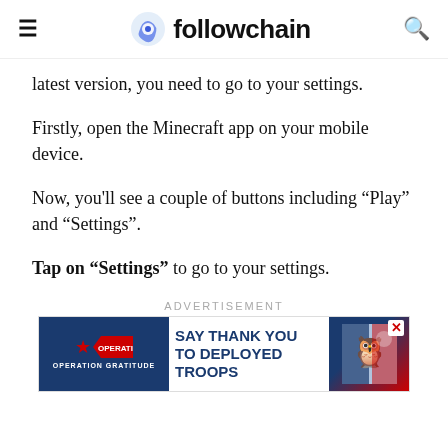followchain
latest version, you need to go to your settings.
Firstly, open the Minecraft app on your mobile device.
Now, you'll see a couple of buttons including “Play” and “Settings”.
Tap on “Settings” to go to your settings.
[Figure (other): Advertisement banner for Operation Gratitude: SAY THANK YOU TO DEPLOYED TROOPS]